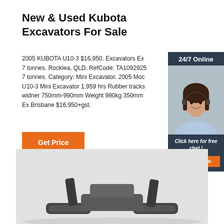New & Used Kubota Excavators For Sale
2005 KUBOTA U10-3 $16,950. Excavators Ex 7 tonnes. Rocklea, QLD. RefCode: TA10929257 tonnes. Category: Mini Excavator. 2005 Moc U10-3 Mini Excavator 1,959 hrs Rubber tracks widner 750mm-990mm Weight 980kg 350mm Ex Brisbane $16,950+gst.
[Figure (other): Orange 'Get Price' button]
[Figure (other): 24/7 online chat widget with agent photo, 'Click here for free chat!' text and orange QUOTATION button]
[Figure (photo): Bottom portion of a Kubota mini excavator shown against a light grey background]